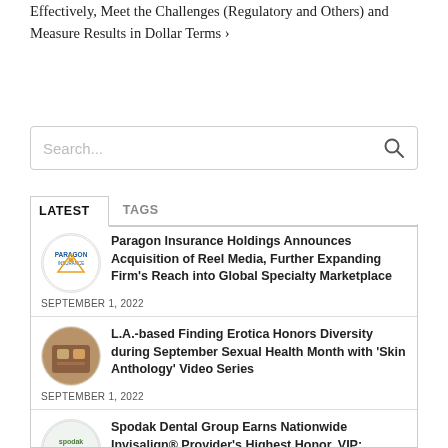Effectively, Meet the Challenges (Regulatory and Others) and Measure Results in Dollar Terms ›
[Figure (screenshot): Search bar with placeholder text 'Search...' and magnifying glass icon]
LATEST   TAGS
Paragon Insurance Holdings Announces Acquisition of Reel Media, Further Expanding Firm's Reach into Global Specialty Marketplace — SEPTEMBER 1, 2022
L.A.-based Finding Erotica Honors Diversity during September Sexual Health Month with 'Skin Anthology' Video Series — SEPTEMBER 1, 2022
Spodak Dental Group Earns Nationwide Invisalign® Provider's Highest Honor, VIP: Diamond Plus